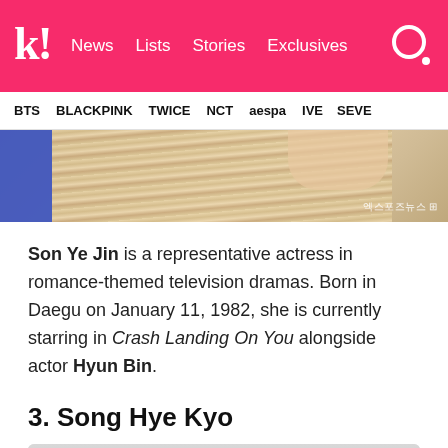k! News  Lists  Stories  Exclusives
BTS  BLACKPINK  TWICE  NCT  aespa  IVE  SEVE
[Figure (photo): Partial photo of Son Ye Jin showing blonde/light hair and partial body, with Korean watermark text in bottom right corner]
Son Ye Jin is a representative actress in romance-themed television dramas. Born in Daegu on January 11, 1982, she is currently starring in Crash Landing On You alongside actor Hyun Bin.
3. Song Hye Kyo
[Figure (photo): Partial photo showing top of Song Hye Kyo's head with dark hair against a light background]